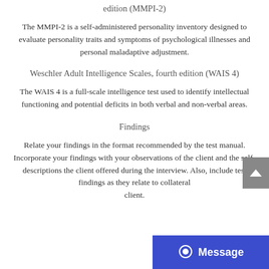edition (MMPI-2)
The MMPI-2 is a self-administered personality inventory designed to evaluate personality traits and symptoms of psychological illnesses and personal maladaptive adjustment.
Weschler Adult Intelligence Scales, fourth edition (WAIS 4)
The WAIS 4 is a full-scale intelligence test used to identify intellectual functioning and potential deficits in both verbal and non-verbal areas.
Findings
Relate your findings in the format recommended by the test manual. Incorporate your findings with your observations of the client and the self-descriptions the client offered during the interview. Also, include test findings as they relate to collateral information about the client.